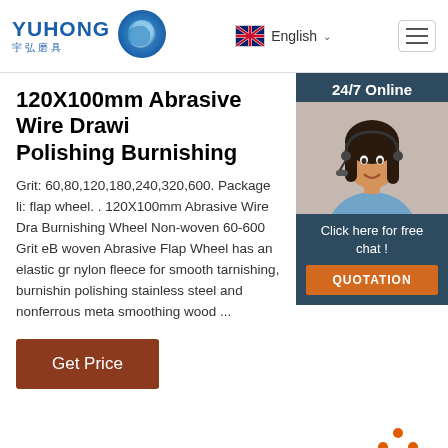[Figure (logo): Yuhong 宇弘磨具 logo with blue wave/globe icon]
[Figure (screenshot): English language selector with UK flag and dropdown arrow]
[Figure (screenshot): Hamburger menu icon button]
[Figure (photo): 24/7 Online customer service popup with photo of woman with headset, Click here for free chat, and QUOTATION button]
120X100mm Abrasive Wire Drawing Polishing Burnishing
Grit: 60,80,120,180,240,320,600. Package li: flap wheel. . 120X100mm Abrasive Wire Drawing Burnishing Wheel Non-woven 60-600 Grit eB woven Abrasive Flap Wheel has an elastic gr nylon fleece for smooth tarnishing, burnishing, polishing stainless steel and nonferrous meta smoothing wood ...
[Figure (screenshot): Get Price brown button]
[Figure (infographic): TOP navigation icon with orange dots and text]